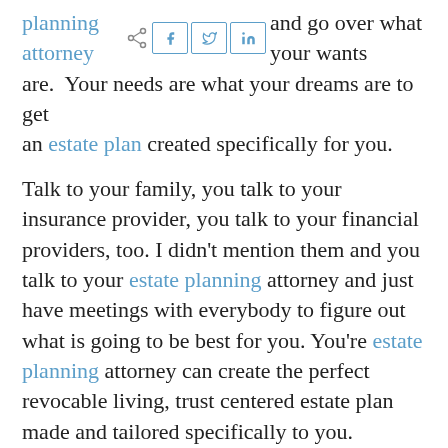planning attorney and go over what your wants are. Your needs are what your dreams are to get an estate plan created specifically for you.
Talk to your family, you talk to your insurance provider, you talk to your financial providers, too. I didn't mention them and you talk to your estate planning attorney and just have meetings with everybody to figure out what is going to be best for you. You're estate planning attorney can create the perfect revocable living, trust centered estate plan made and tailored specifically to you.
Find us on Facebook
Find us on Birdeye
Find us on Instagram